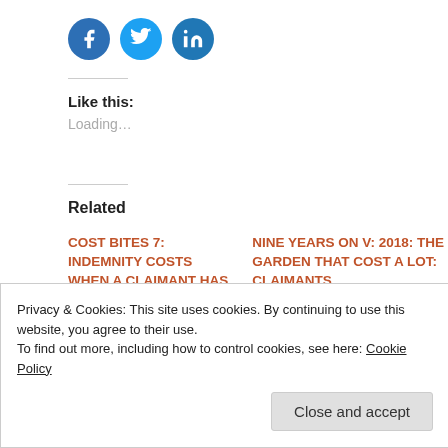[Figure (illustration): Three social media share buttons: Facebook (blue circle), Twitter (light blue circle), LinkedIn (dark blue circle) with white icons]
Like this:
Loading...
Related
COST BITES 7: INDEMNITY COSTS WHEN A CLAIMANT HAS
NINE YEARS ON V: 2018: THE GARDEN THAT COST A LOT: CLAIMANTS
Privacy & Cookies: This site uses cookies. By continuing to use this website, you agree to their use.
To find out more, including how to control cookies, see here: Cookie Policy
Close and accept
At Appeals